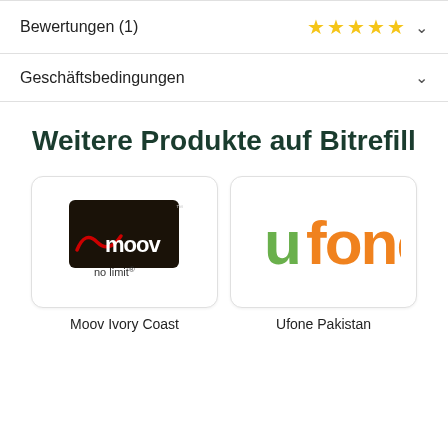Bewertungen (1)
Geschäftsbedingungen
Weitere Produkte auf Bitrefill
[Figure (logo): Moov Ivory Coast logo — dark background with red swoosh and 'moov' text and 'no limit' tagline]
Moov Ivory Coast
[Figure (logo): Ufone Pakistan logo — green 'u' and orange 'fone' text on white]
Ufone Pakistan